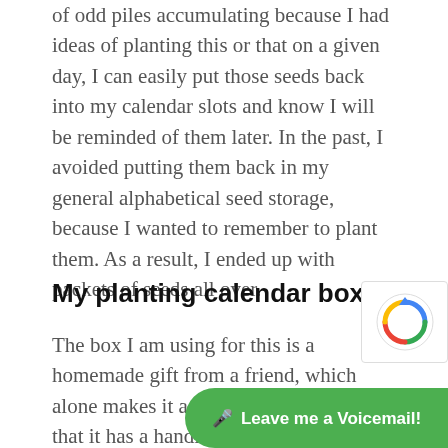of odd piles accumulating because I had ideas of planting this or that on a given day, I can easily put those seeds back into my calendar slots and know I will be reminded of them later. In the past, I avoided putting them back in my general alphabetical seed storage, because I wanted to remember to plant them. As a result, I ended up with packets of seeds all over.
My planting calendar box
The box I am using for this is a homemade gift from a friend, which alone makes it a treat. I also like the fact that it has a handle for easy carrying, dividers for sorting, and is a convenient size. I have seen ma[ny] baskets that have simila[r features]
[Figure (other): reCAPTCHA logo overlay in bottom right corner]
[Figure (other): Green 'Leave me a Voicemail!' button overlay at bottom]